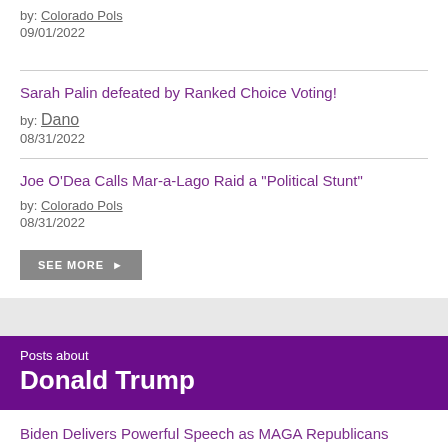by: Colorado Pols
09/01/2022
Sarah Palin defeated by Ranked Choice Voting!
by: Dano
08/31/2022
Joe O'Dea Calls Mar-a-Lago Raid a "Political Stunt"
by: Colorado Pols
08/31/2022
SEE MORE
Posts about
Donald Trump
Biden Delivers Powerful Speech as MAGA Republicans Freak Out
by: Colorado Pols
09/02/2022